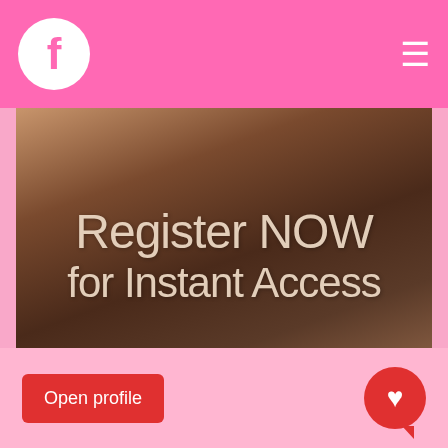f ≡
[Figure (photo): Dark background photo with overlaid text 'Register NOW for Instant Access' and watermark 'BANGBROS.COM' in mirrored text at bottom left]
Open profile
[Figure (illustration): Red heart speech bubble icon]